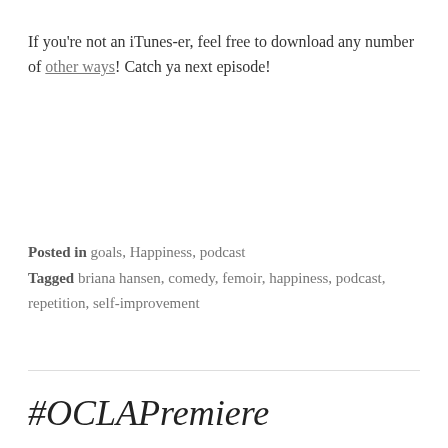If you're not an iTunes-er, feel free to download any number of other ways! Catch ya next episode!
Posted in goals, Happiness, podcast
Tagged briana hansen, comedy, femoir, happiness, podcast, repetition, self-improvement
#OCLAPremiere